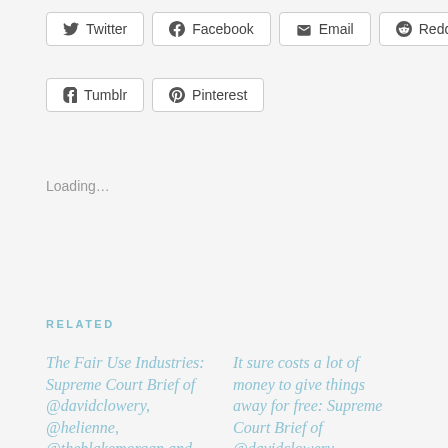[Figure (other): Social share buttons row 1: Twitter, Facebook, Email, Reddit, LinkedIn]
[Figure (other): Social share buttons row 2: Tumblr, Pinterest]
Loading…
RELATED
The Fair Use Industries: Supreme Court Brief of @davidclowery, @helienne, @theblakemorgan and @sgawrites in Google v. Oracle
July 27, 2020
In "Artist Rights"
It sure costs a lot of money to give things away for free: Supreme Court Brief of @davidclowery, @helienne, @theblakemorgan and @sgawrites in Google v. Oracle Part 3
July 28, 2020
In "Artist Rights"